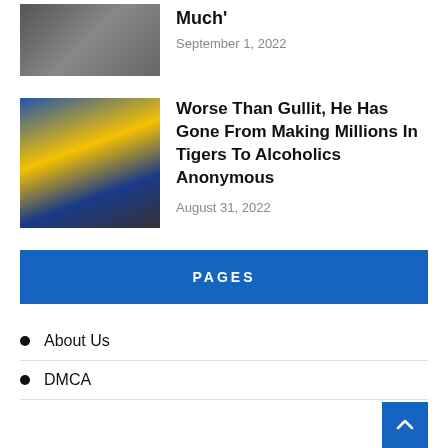[Figure (photo): Partial thumbnail of a person at a desk, cropped at top]
Much
September 1, 2022
[Figure (photo): Man crying or wiping face, with Tigres UANL and Alcoholics Anonymous logos in background]
Worse Than Gullit, He Has Gone From Making Millions In Tigers To Alcoholics Anonymous
August 31, 2022
PAGES
About Us
DMCA